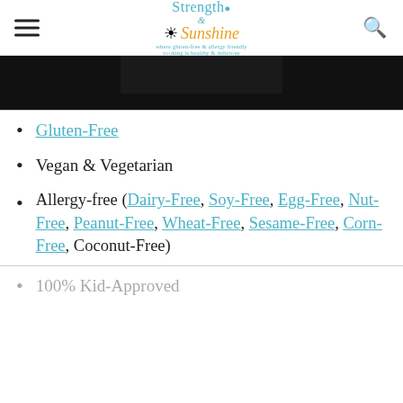Strength & Sunshine — where gluten-free & allergy friendly cooking is healthy & delicious
[Figure (photo): Dark/black image block at top of page content area]
Gluten-Free
Vegan & Vegetarian
Allergy-free (Dairy-Free, Soy-Free, Egg-Free, Nut-Free, Peanut-Free, Wheat-Free, Sesame-Free, Corn-Free, Coconut-Free)
100% Kid-Approved